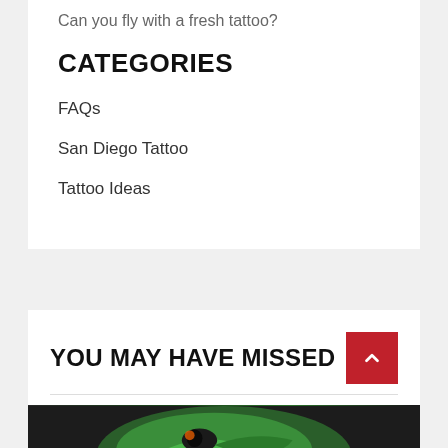Can you fly with a fresh tattoo?
CATEGORIES
FAQs
San Diego Tattoo
Tattoo Ideas
YOU MAY HAVE MISSED
[Figure (photo): A tattoo of a green reptile/dinosaur with open jaws on a person's arm, with a red 'SAN DIEGO TATTOO' badge overlay in the bottom left corner.]